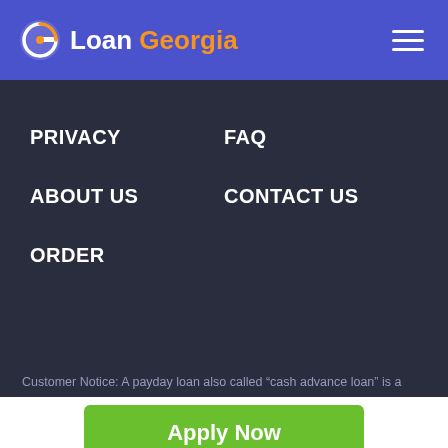[Figure (logo): Loan Georgia logo with stylized G icon and text on blue header bar]
PRIVACY
FAQ
ABOUT US
CONTACT US
ORDER
Customer Notice: A payday loan also called “cash advance loan” is a
Apply Now
Applying does NOT affect your credit score!
No credit check to apply.